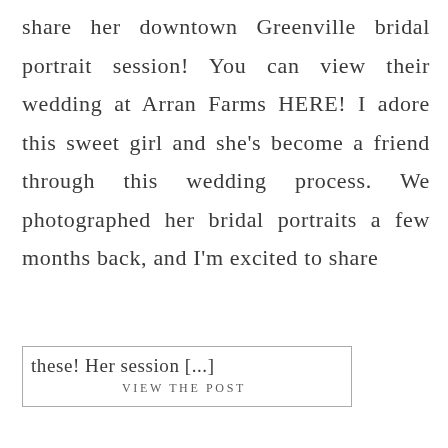share her downtown Greenville bridal portrait session! You can view their wedding at Arran Farms HERE! I adore this sweet girl and she's become a friend through this wedding process. We photographed her bridal portraits a few months back, and I'm excited to share these! Her session [...]
VIEW THE POST